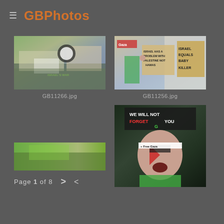GBPhotos
[Figure (photo): Protest march with large crowd holding signs, including one with a crossed-out bird symbol. UK cityscape in background.]
GB11266.jpg
[Figure (photo): Protest march with people holding signs reading 'Israel has a problem with Palestine not Hamas' and 'Israel equals baby killer']
GB11256.jpg
[Figure (photo): Partial thumbnail showing green foliage/trees]
[Figure (photo): Young man with face painted in Palestinian flag colors holding a sign reading 'We will not forget you']
Page 1 of 8